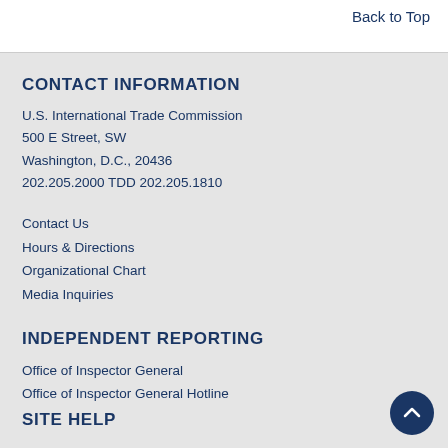Back to Top
CONTACT INFORMATION
U.S. International Trade Commission
500 E Street, SW
Washington, D.C., 20436
202.205.2000 TDD 202.205.1810
Contact Us
Hours & Directions
Organizational Chart
Media Inquiries
INDEPENDENT REPORTING
Office of Inspector General
Office of Inspector General Hotline
SITE HELP